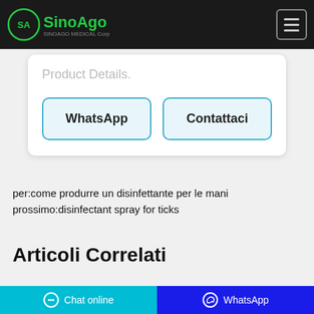SinoAgo Medical Corp
Product Details.
WhatsApp   Contattaci
per:come produrre un disinfettante per le mani       prossimo:disinfectant spray for ticks
Articoli Correlati
Chat online   WhatsApp